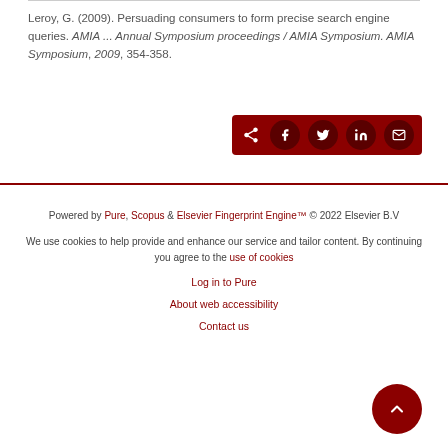Leroy, G. (2009). Persuading consumers to form precise search engine queries. AMIA ... Annual Symposium proceedings / AMIA Symposium. AMIA Symposium, 2009, 354-358.
[Figure (other): Share buttons row: share icon, Facebook, Twitter, LinkedIn, email — dark red background]
Powered by Pure, Scopus & Elsevier Fingerprint Engine™ © 2022 Elsevier B.V
We use cookies to help provide and enhance our service and tailor content. By continuing you agree to the use of cookies
Log in to Pure
About web accessibility
Contact us